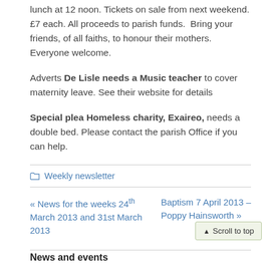lunch at 12 noon. Tickets on sale from next weekend. £7 each. All proceeds to parish funds. Bring your friends, of all faiths, to honour their mothers. Everyone welcome.
Adverts De Lisle needs a Music teacher to cover maternity leave. See their website for details
Special plea Homeless charity, Exaireo, needs a double bed. Please contact the parish Office if you can help.
Weekly newsletter
« News for the weeks 24th March 2013 and 31st March 2013
Baptism 7 April 2013 – Poppy Hainsworth »
▲ Scroll to top
News and events